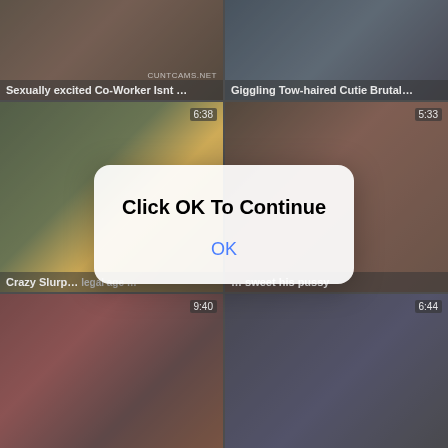[Figure (screenshot): Video thumbnail grid showing adult video website with 8 thumbnail tiles, overlaid by a modal dialog saying 'Click OK To Continue' with an OK button. Thumbnails show video titles and durations. A modal dialog is centered over the grid.]
Click OK To Continue
OK